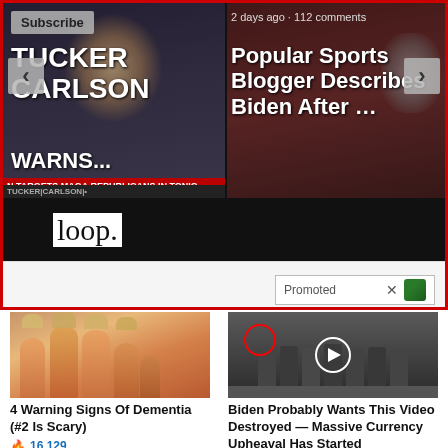[Figure (screenshot): Video thumbnail of Tucker Carlson with overlay text 'TUCKER CARLSON WARNS...' and ticker bar 'N TARGETS MAGA REPUBLICANS IN TONIG']
Subscribe
[Figure (screenshot): Video thumbnail with text 'Popular Sports Blogger Describes Biden After ...' and timestamp '2 days ago · 112 comments']
loop.
Sponsored
First Name
Promoted X
[Figure (photo): Close-up photo of yellowed fingernails/fingers against warm background]
[Figure (photo): Group of men standing in formal setting with CIA seal on floor, red circle highlighting one person, play button overlay]
4 Warning Signs Of Dementia (#2 Is Scary)
16,129
Biden Probably Wants This Video Destroyed — Massive Currency Upheaval Has Started
296,220